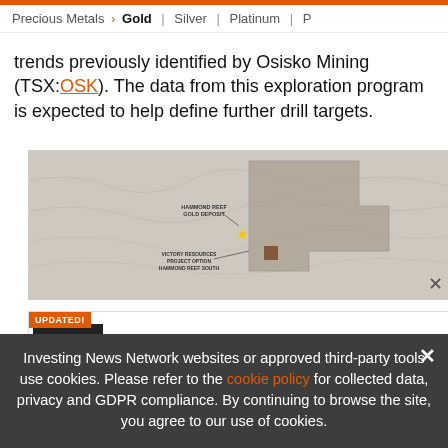Precious Metals > Gold | Silver | Platinum | P
trends previously identified by Osisko Mining (TSX:OSK). The data from this exploration program is expected to help define further drill targets.
[Figure (map): Map showing Hammond Reef Gold Deposit and Victory Resources Project Option Hammond Reef South, with a yellow star marker and brown square marker on terrain map]
[Figure (infographic): Advertisement banner: UPDATED! TOP COPPER Stocks, Trends, Forecasts - 2022 Copper Outlook Report. Copper Outlook 2022 logo with INN branding.]
Investing News Network websites or approved third-party tools use cookies. Please refer to the cookie policy for collected data, privacy and GDPR compliance. By continuing to browse the site, you agree to our use of cookies.